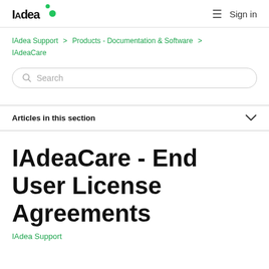IAdea | Sign in
IAdea Support > Products - Documentation & Software > IAdeaCare
Search
Articles in this section
IAdeaCare - End User License Agreements
IAdea Support